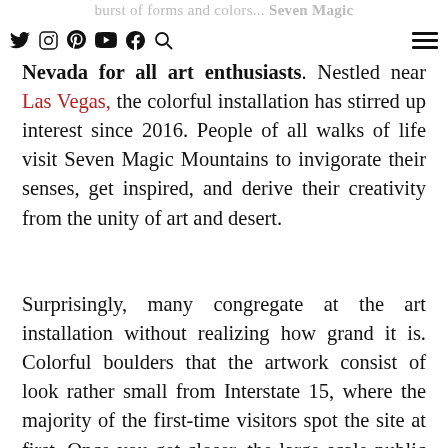burst of forms and colors... Seven Magic Mountains is a primary destination to visit
Nevada for all art enthusiasts. Nestled near Las Vegas, the colorful installation has stirred up interest since 2016. People of all walks of life visit Seven Magic Mountains to invigorate their senses, get inspired, and derive their creativity from the unity of art and desert.
Surprisingly, many congregate at the art installation without realizing how grand it is. Colorful boulders that the artwork consist of look rather small from Interstate 15, where the majority of the first-time visitors spot the site at first. Once you get closer, the large-scale public art installation towers over you, making you feel